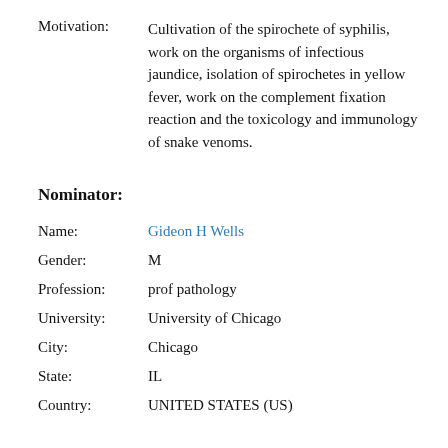Motivation: Cultivation of the spirochete of syphilis, work on the organisms of infectious jaundice, isolation of spirochetes in yellow fever, work on the complement fixation reaction and the toxicology and immunology of snake venoms.
Nominator:
Name: Gideon H Wells
Gender: M
Profession: prof pathology
University: University of Chicago
City: Chicago
State: IL
Country: UNITED STATES (US)